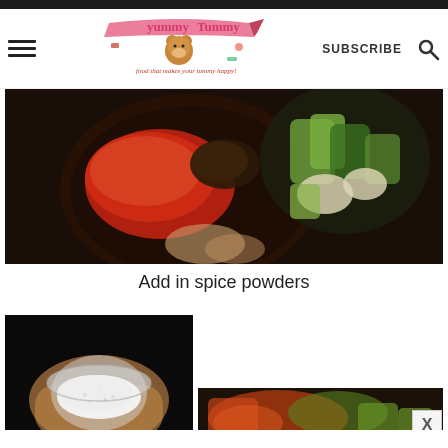Yummy Tummy – food that makes your tummy happy! | SUBSCRIBE
[Figure (photo): Bowl of red spice powders (chili, pepper) with chopped green vegetables in a bowl on dark background]
Add in spice powders
[Figure (photo): Hand holding a small glass bowl of white salt/sugar, with spiced vegetables visible in background]